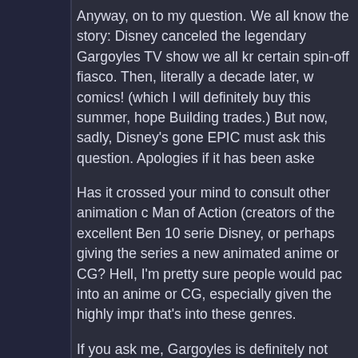Anyway, on to my question. We all know the story: Disney canceled the legendary Gargoyles TV show we all know due to a certain spin-off fiasco. Then, literally a decade later, we got comics! (which I will definitely buy this summer, hopefully the Building trades.) But now, sadly, Disney's gone EPIC FAIL and I must ask this question. Apologies if it has been asked before.
Has it crossed your mind to consult other animation companies, like Man of Action (creators of the excellent Ben 10 series), to approach Disney, or perhaps giving the series a new animated life, be it anime or CG? Hell, I'm pretty sure people would pack their bags into an anime or CG, especially given the highly impressive fanbase that's into these genres.
If you ask me, Gargoyles is definitely not doing well under Disney, virtually untouched for a whole decade and more and languishing in a dark hell of obscurity were it not for the fans-i.e. us, and I must thank the fans for doing everything the fandom has done.
Thank you very much for your time, sir. It has been a pleasure to read this letter. Greetings from Puerto Rico, God Bless and happy stories to enjoy.
Wolf Edd... chi...